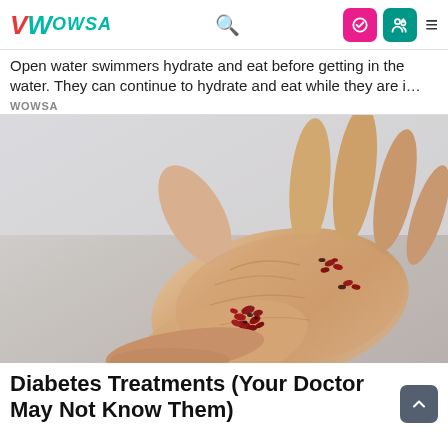WOWSA [navigation bar with search, login, user icons, and hamburger menu]
Open water swimmers hydrate and eat before getting in the water. They can continue to hydrate and eat while they are i...
WOWSA
[Figure (photo): A close-up photo of an open human palm holding small red/dark berries or seeds scattered across the hand against a light background.]
Diabetes Treatments (Your Doctor May Not Know Them)